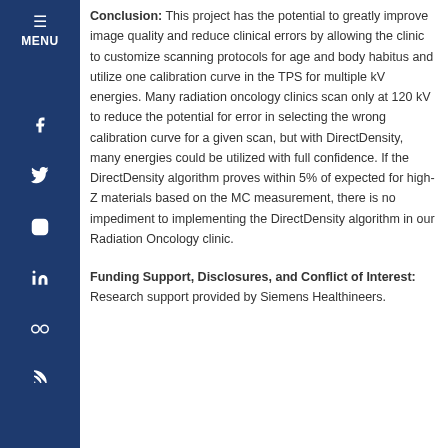Conclusion: This project has the potential to greatly improve image quality and reduce clinical errors by allowing the clinic to customize scanning protocols for age and body habitus and utilize one calibration curve in the TPS for multiple kV energies. Many radiation oncology clinics scan only at 120 kV to reduce the potential for error in selecting the wrong calibration curve for a given scan, but with DirectDensity, many energies could be utilized with full confidence. If the DirectDensity algorithm proves within 5% of expected for high-Z materials based on the MC measurement, there is no impediment to implementing the DirectDensity algorithm in our Radiation Oncology clinic.
Funding Support, Disclosures, and Conflict of Interest: Research support provided by Siemens Healthineers.